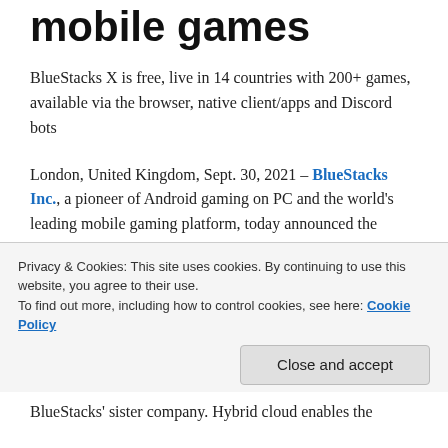mobile games
BlueStacks X is free, live in 14 countries with 200+ games, available via the browser, native client/apps and Discord bots
London, United Kingdom, Sept. 30, 2021 – BlueStacks Inc., a pioneer of Android gaming on PC and the world's leading mobile gaming platform, today announced the release of BlueStacks X (beta), the world's first cloud-based game streaming service for mobile games. BlueStacks X is available on Windows 10 and 11, Mac, iOS, Android, Chromebook and Raspberry Pi. It is the only cloud gaming service on the market that offers free game
Privacy & Cookies: This site uses cookies. By continuing to use this website, you agree to their use.
To find out more, including how to control cookies, see here: Cookie Policy
Close and accept
BlueStacks' sister company. Hybrid cloud enables the